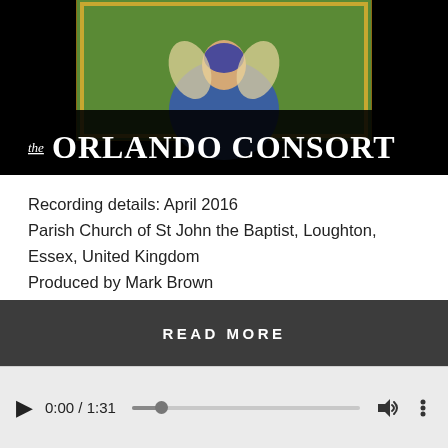[Figure (illustration): Album cover art for The Orlando Consort on Hyperion label. Black background with a medieval illuminated manuscript image showing a figure in blue robes on a gold and green background. Text overlay reads 'the ORLANDO CONSORT hyperion'.]
Recording details: April 2016
Parish Church of St John the Baptist, Loughton, Essex, United Kingdom
Produced by Mark Brown
Engineered by David Hinitt
Release date: May 2018
READ MORE
0:00 / 1:31